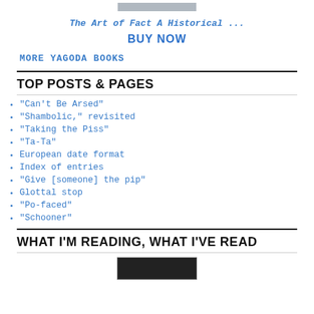[Figure (other): Book cover image placeholder (gray bar)]
The Art of Fact A Historical ...
BUY NOW
MORE YAGODA BOOKS
TOP POSTS & PAGES
"Can't Be Arsed"
"Shambolic," revisited
"Taking the Piss"
"Ta-Ta"
European date format
Index of entries
"Give [someone] the pip"
Glottal stop
"Po-faced"
"Schooner"
WHAT I'M READING, WHAT I'VE READ
[Figure (photo): Book cover image at bottom, dark background with small text]